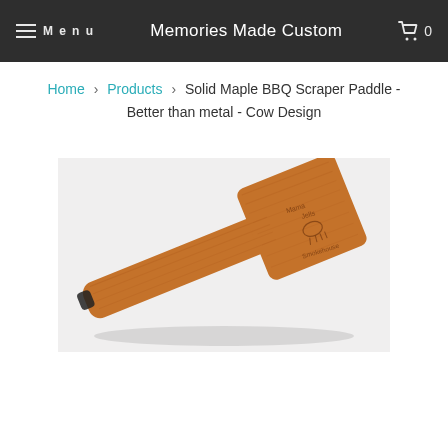Menu   Memories Made Custom   0
Home > Products > Solid Maple BBQ Scraper Paddle - Better than metal - Cow Design
[Figure (photo): A wooden solid maple BBQ scraper paddle with engraved cow design text reading 'Mama Jells Smokehouse', photographed diagonally on a white background with a black hanging loop at the handle end.]